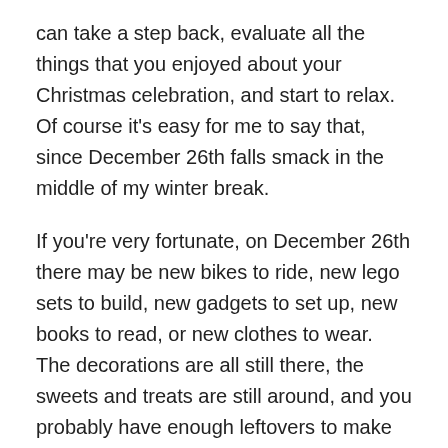can take a step back, evaluate all the things that you enjoyed about your Christmas celebration, and start to relax. Of course it's easy for me to say that, since December 26th falls smack in the middle of my winter break.
If you're very fortunate, on December 26th there may be new bikes to ride, new lego sets to build, new gadgets to set up, new books to read, or new clothes to wear. The decorations are all still there, the sweets and treats are still around, and you probably have enough leftovers to make cooking unnecessary. December 26th is a day to take a walk around the neighborhood, take a deep breath, and enjoy what's left of the holiday season, without all the pressure of the actual holiday itself. December 26th isn't sad, it's not sad at all.